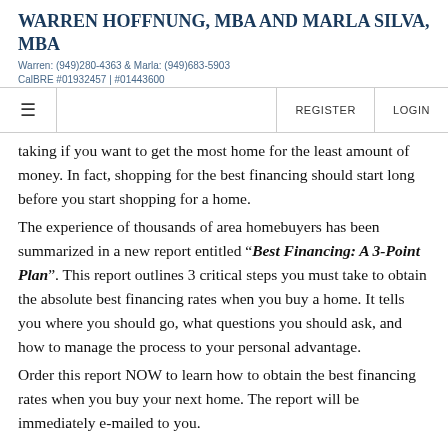WARREN HOFFNUNG, MBA AND MARLA SILVA, MBA
Warren: (949)280-4363 & Marla: (949)683-5903
CalBRE #01932457 | #01443600
taking if you want to get the most home for the least amount of money. In fact, shopping for the best financing should start long before you start shopping for a home.
The experience of thousands of area homebuyers has been summarized in a new report entitled "Best Financing: A 3-Point Plan". This report outlines 3 critical steps you must take to obtain the absolute best financing rates when you buy a home. It tells you where you should go, what questions you should ask, and how to manage the process to your personal advantage.
Order this report NOW to learn how to obtain the best financing rates when you buy your next home. The report will be immediately e-mailed to you.